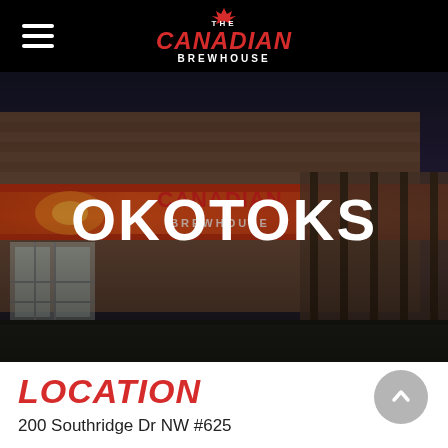The Canadian Brewhouse
[Figure (photo): Exterior photo of The Canadian Brewhouse restaurant in Okotoks, showing the storefront at dusk/evening with red signage and a large 'OKOTOKS' text overlay in white bold letters]
LOCATION
200 Southridge Dr NW #625